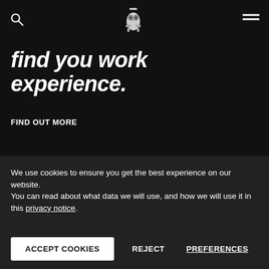Navigation bar with search icon, owl logo, and hamburger menu
find you work experience.
FIND OUT MORE
ENTER KEYWORDS
Search courses
We use cookies to ensure you get the best experience on our website.
You can read about what data we will use, and how we will use it in this privacy notice.
ACCEPT COOKIES   REJECT   PREFERENCES